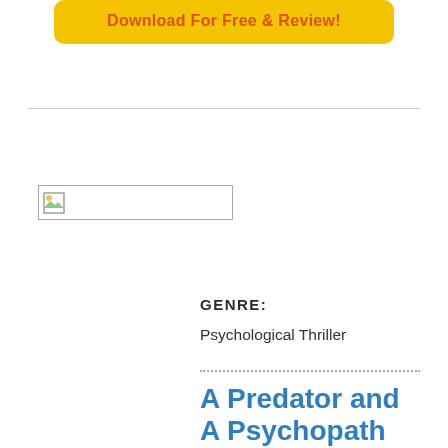[Figure (other): Yellow rounded button with orange bold text 'Download For Free & Review!']
[Figure (other): Broken image placeholder with small landscape icon]
GENRE:
Psychological Thriller
A Predator and A Psychopath